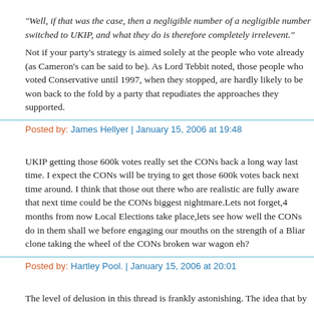"Well, if that was the case, then a negligible number of a negligible number switched to UKIP, and what they do is therefore completely irrelevent."
Not if your party's strategy is aimed solely at the people who vote already (as Cameron's can be said to be). As Lord Tebbit noted, those people who voted Conservative until 1997, when they stopped, are hardly likely to be won back to the fold by a party that repudiates the approaches they supported.
Posted by: James Hellyer | January 15, 2006 at 19:48
UKIP getting those 600k votes really set the CONs back a long way last time. I expect the CONs will be trying to get those 600k votes back next time around. I think that those out there who are realistic are fully aware that next time could be the CONs biggest nightmare.Lets not forget,4 months from now Local Elections take place,lets see how well the CONs do in them shall we before engaging our mouths on the strength of a Bliar clone taking the wheel of the CONs broken war wagon eh?
Posted by: Hartley Pool. | January 15, 2006 at 20:01
The level of delusion in this thread is frankly astonishing. The idea that by